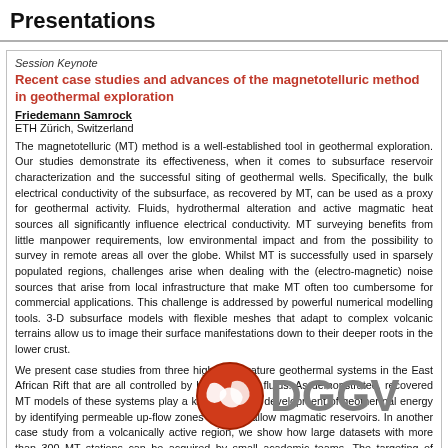Presentations
Session Keynote
Recent case studies and advances of the magnetotelluric method in geothermal exploration
Friedemann Samrock
ETH Zürich, Switzerland
The magnetotelluric (MT) method is a well-established tool in geothermal exploration. Our studies demonstrate its effectiveness, when it comes to subsurface reservoir characterization and the successful siting of geothermal wells. Specifically, the bulk electrical conductivity of the subsurface, as recovered by MT, can be used as a proxy for geothermal activity. Fluids, hydrothermal alteration and active magmatic heat sources all significantly influence electrical conductivity. MT surveying benefits from little manpower requirements, low environmental impact and from the possibility to survey in remote areas all over the globe. Whilst MT is successfully used in sparsely populated regions, challenges arise when dealing with the (electro-magnetic) noise sources that arise from local infrastructure that make MT often too cumbersome for commercial applications. This challenge is addressed by powerful numerical modelling tools. 3-D subsurface models with flexible meshes that adapt to complex volcanic terrains allow us to image their surface manifestations down to their deeper roots in the lower crust.
We present case studies from three high-temperature geothermal systems in the East African Rift that are all controlled by hydrothermal fluids. As demonstrated, recovered MT models of these systems play a key role in the development of geothermal energy by identifying permeable up-flow zones above shallow magmatic reservoirs. In another case study from a volcanically active region, we show how large datasets with more than 300 MT stations can be acquired by small academic teams. The targeting of prospective geothermal systems in non-volcanic terrains is less straight forward and requires more a priori knowledge to unlock the potential of such non-volcanic geothermal systems.
[Figure (logo): DGGV logo with red circular emblem and grey DGGV text]